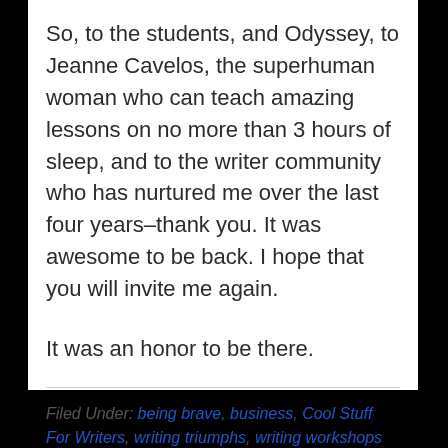So, to the students, and Odyssey, to Jeanne Cavelos, the superhuman woman who can teach amazing lessons on no more than 3 hours of sleep, and to the writer community who has nurtured me over the last four years–thank you. It was awesome to be back. I hope that you will invite me again.
It was an honor to be there.
Filed Under: being brave, business, Cool Stuff For Writers, writing triumphs, writing workshops